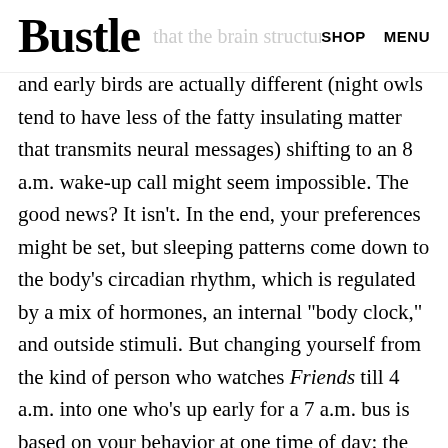Bustle  SHOP  MENU
that the brain structures of night owls and early birds are actually different (night owls tend to have less of the fatty insulating matter that transmits neural messages) shifting to an 8 a.m. wake-up call might seem impossible. The good news? It isn't. In the end, your preferences might be set, but sleeping patterns come down to the body's circadian rhythm, which is regulated by a mix of hormones, an internal "body clock," and outside stimuli. But changing yourself from the kind of person who watches Friends till 4 a.m. into one who's up early for a 7 a.m. bus is based on your behavior at one time of day: the morning. Turns out your sleep patterns are based very heavily on when you try to wake up.